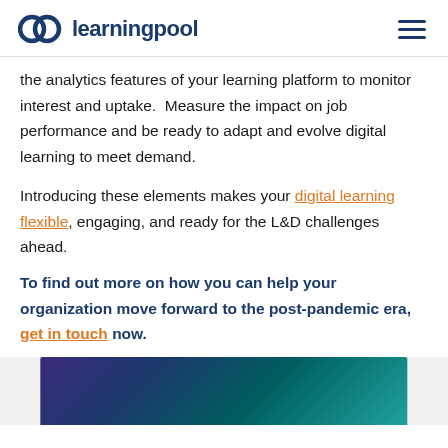learningpool
the analytics features of your learning platform to monitor interest and uptake.  Measure the impact on job performance and be ready to adapt and evolve digital learning to meet demand.
Introducing these elements makes your digital learning flexible, engaging, and ready for the L&D challenges ahead.
To find out more on how you can help your organization move forward to the post-pandemic era, get in touch now.
[Figure (photo): Partial view of a photo, appears to show a screen or device in a dark/colorful setting]